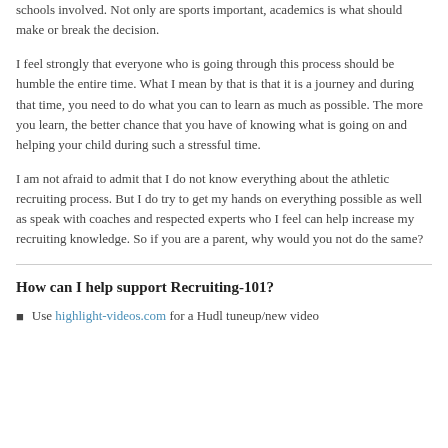schools involved. Not only are sports important, academics is what should make or break the decision.
I feel strongly that everyone who is going through this process should be humble the entire time. What I mean by that is that it is a journey and during that time, you need to do what you can to learn as much as possible. The more you learn, the better chance that you have of knowing what is going on and helping your child during such a stressful time.
I am not afraid to admit that I do not know everything about the athletic recruiting process. But I do try to get my hands on everything possible as well as speak with coaches and respected experts who I feel can help increase my recruiting knowledge. So if you are a parent, why would you not do the same?
How can I help support Recruiting-101?
Use highlight-videos.com for a Hudl tuneup/new video